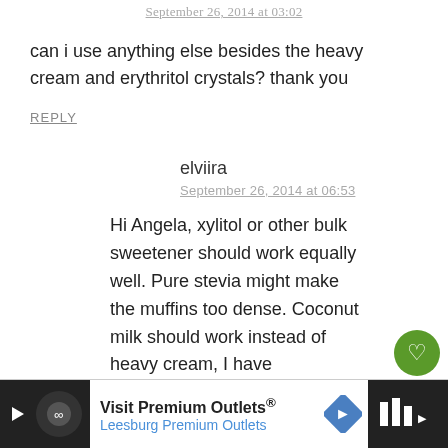September 26, 2014 at 03:02
can i use anything else besides the heavy cream and erythritol crystals? thank you
REPLY
elviira
September 26, 2014 at 06:53
Hi Angela, xylitol or other bulk sweetener should work equally well. Pure stevia might make the muffins too dense. Coconut milk should work instead of heavy cream, I have
[Figure (other): Advertisement banner: Visit Premium Outlets® Leesburg Premium Outlets with logo and arrow icon]
[Figure (other): Floating social action buttons: heart/like button with count 31, and share button]